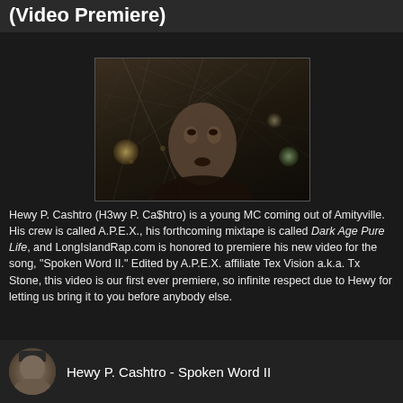Hewy P. Cashtro – Spoken Word II (Video Premiere)
[Figure (photo): Video thumbnail showing a young man's face with light streaks/lines in dark background with bokeh lights]
Hewy P. Cashtro (H3wy P. Ca$htro) is a young MC coming out of Amityville. His crew is called A.P.E.X., his forthcoming mixtape is called Dark Age Pure Life, and LongIslandRap.com is honored to premiere his new video for the song, "Spoken Word II." Edited by A.P.E.X. affiliate Tex Vision a.k.a. Tx Stone, this video is our first ever premiere, so infinite respect due to Hewy for letting us bring it to you before anybody else.
[Figure (screenshot): Video player embed showing avatar of Hewy P. Cashtro with text: Hewy P. Cashtro - Spoken Word II]